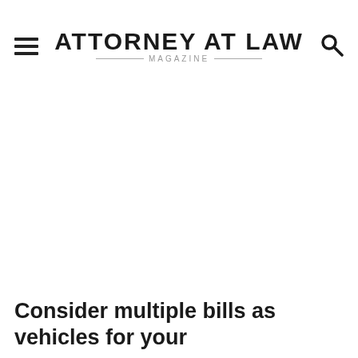ATTORNEY AT LAW MAGAZINE
Consider multiple bills as vehicles for your